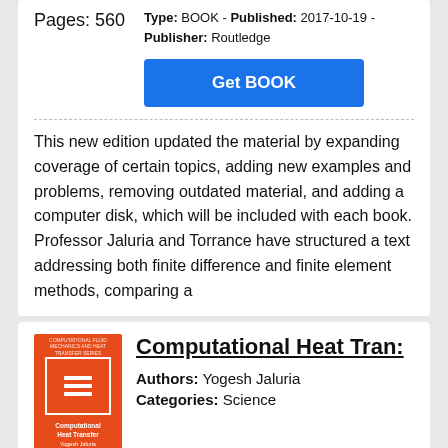Pages: 560
Type: BOOK - Published: 2017-10-19 - Publisher: Routledge
[Figure (other): Blue 'Get BOOK' button]
This new edition updated the material by expanding coverage of certain topics, adding new examples and problems, removing outdated material, and adding a computer disk, which will be included with each book. Professor Jaluria and Torrance have structured a text addressing both finite difference and finite element methods, comparing a
[Figure (illustration): Orange book cover with white border rectangle and icon, titled 'Computational Heat Transfer']
Computational Heat Tran:
Authors: Yogesh Jaluria
Categories: Science
Language: en